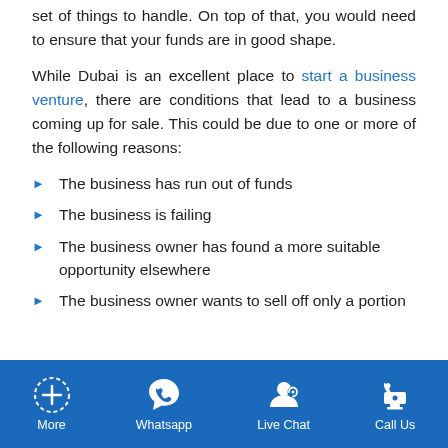set of things to handle. On top of that, you would need to ensure that your funds are in good shape.
While Dubai is an excellent place to start a business venture, there are conditions that lead to a business coming up for sale. This could be due to one or more of the following reasons:
The business has run out of funds
The business is failing
The business owner has found a more suitable opportunity elsewhere
The business owner wants to sell off only a portion
More  Whatsapp  Live Chat  Call Us